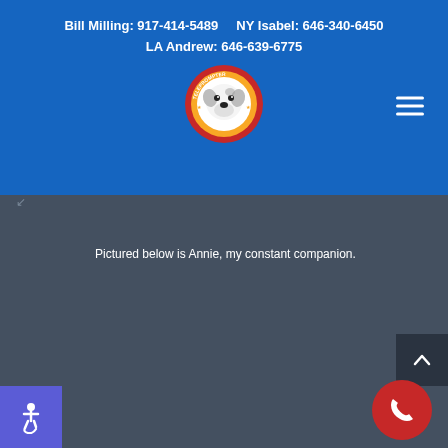Bill Milling: 917-414-5489   NY Isabel: 646-340-6450
LA Andrew: 646-639-6775
[Figure (logo): Teleprompter Rental circular logo with a dog face in the center, red and yellow ring with text TELEPROMPTER RENTAL.COM]
Pictured below is Annie, my constant companion.